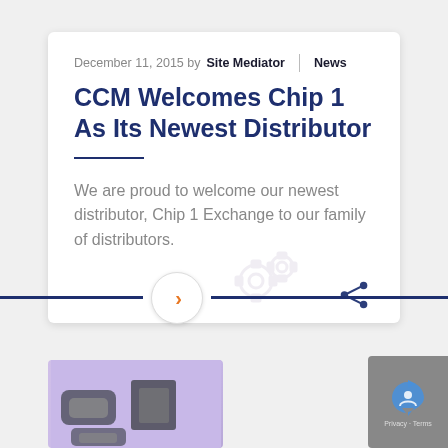December 11, 2015 by Site Mediator | News
CCM Welcomes Chip 1 As Its Newest Distributor
We are proud to welcome our newest distributor, Chip 1 Exchange to our family of distributors.
[Figure (photo): USB-C connector components on a purple background]
[Figure (screenshot): reCAPTCHA badge - Privacy - Terms]